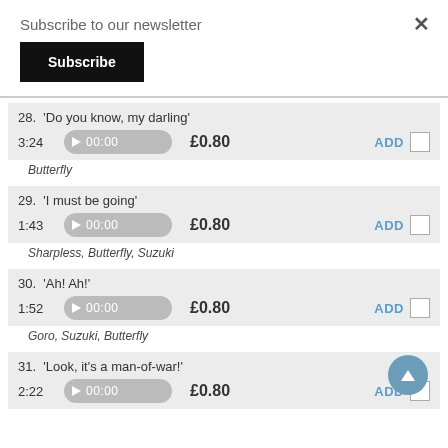Subscribe to our newsletter
Subscribe
28. 'Do you know, my darling' — 3:24 — £0.80 — ADD
Butterfly
29. 'I must be going' — 1:43 — £0.80 — ADD
Sharpless, Butterfly, Suzuki
30. 'Ah! Ah!' — 1:52 — £0.80 — ADD
Goro, Suzuki, Butterfly
31. 'Look, it's a man-of-war!' — 2:22 — £0.80 — ADD